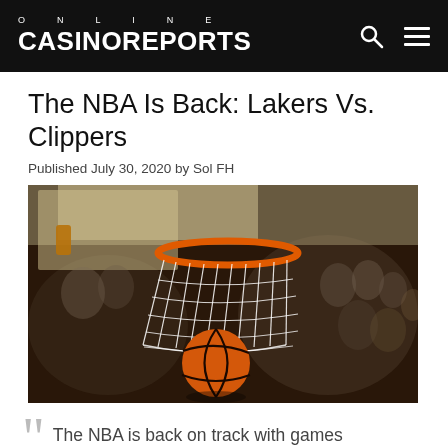ONLINE CASINOREPORTS
The NBA Is Back: Lakers Vs. Clippers
Published July 30, 2020 by Sol FH
[Figure (photo): Basketball going through a hoop with net, crowd blurred in background]
The NBA is back on track with games beginning at 22:30 GMT to nintend including the